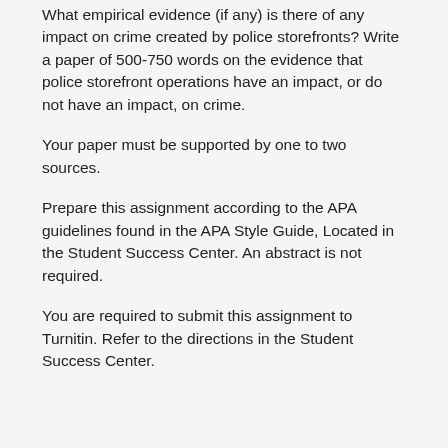What empirical evidence (if any) is there of any impact on crime created by police storefronts? Write a paper of 500-750 words on the evidence that police storefront operations have an impact, or do not have an impact, on crime.
Your paper must be supported by one to two sources.
Prepare this assignment according to the APA guidelines found in the APA Style Guide, Located in the Student Success Center. An abstract is not required.
You are required to submit this assignment to Turnitin. Refer to the directions in the Student Success Center.